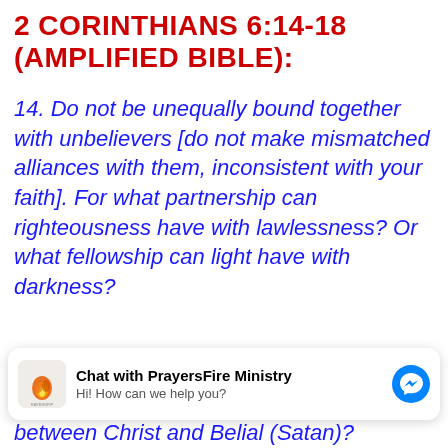2 CORINTHIANS 6:14-18 (AMPLIFIED BIBLE):
14. Do not be unequally bound together with unbelievers [do not make mismatched alliances with them, inconsistent with your faith]. For what partnership can righteousness have with lawlessness? Or what fellowship can light have with darkness?
[Figure (other): Chat widget for PrayersFire Ministry with logo, chat title, subtitle 'Hi! How can we help you?' and Messenger icon]
between Christ and Belial (Satan)?